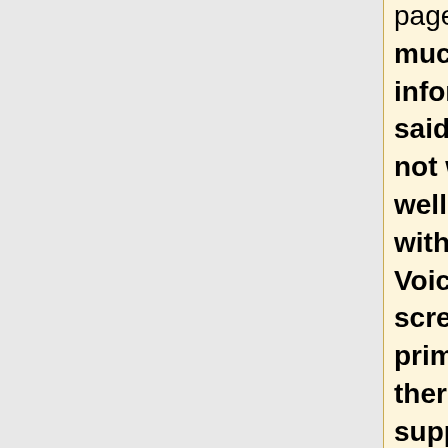page will give you much useful information. That said, Audacity does not work especially well at the moment with the Apple OS X VoiceOver inbuilt screen reader, primarily because there is no current support for it in the <span class="plainlinks"> [http://www.wxwidgets.org/ wxWidgets] </span> GUI library which Audacity uses.